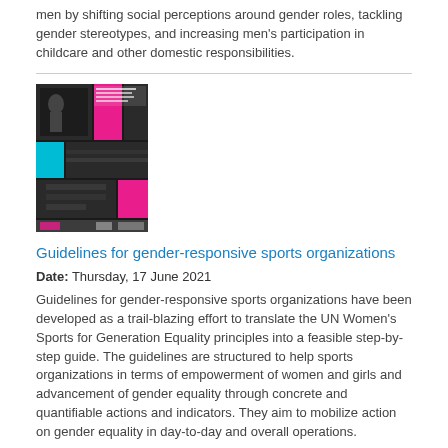men by shifting social perceptions around gender roles, tackling gender stereotypes, and increasing men's participation in childcare and other domestic responsibilities.
[Figure (photo): Cover image of 'Guidelines for Gender-Responsive Sports Organizations' publication showing sports photos in a collage layout with pink and teal accents, and UN Women and IOC logos at the bottom.]
Guidelines for gender-responsive sports organizations
Date: Thursday, 17 June 2021
Guidelines for gender-responsive sports organizations have been developed as a trail-blazing effort to translate the UN Women's Sports for Generation Equality principles into a feasible step-by-step guide. The guidelines are structured to help sports organizations in terms of empowerment of women and girls and advancement of gender equality through concrete and quantifiable actions and indicators. They aim to mobilize action on gender equality in day-to-day and overall operations.